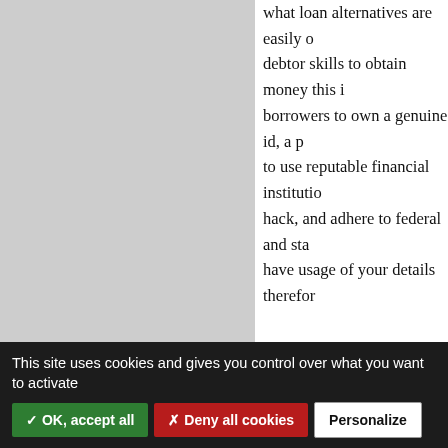what loan alternatives are easily o... debtor skills to obtain money this i... borrowers to own a genuine id, a p... to use reputable financial institutio... hack, and adhere to federal and sta... have usage of your details therefor...
Your power to settle the mortgage ... considered in to the application wh... to ever enter a monetary responsib... cash by concentrating on exactly ju... all of the money goes. Many borro... payments and ramp up needing to ... date or refinancing your financial t... than the loan quantity that is initia...
This site uses cookies and gives you control over what you want to activate